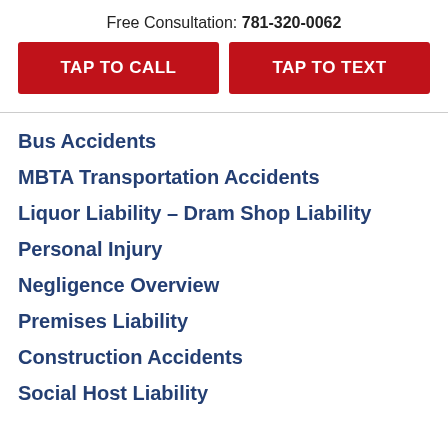Free Consultation: 781-320-0062
TAP TO CALL
TAP TO TEXT
Bus Accidents
MBTA Transportation Accidents
Liquor Liability – Dram Shop Liability
Personal Injury
Negligence Overview
Premises Liability
Construction Accidents
Social Host Liability